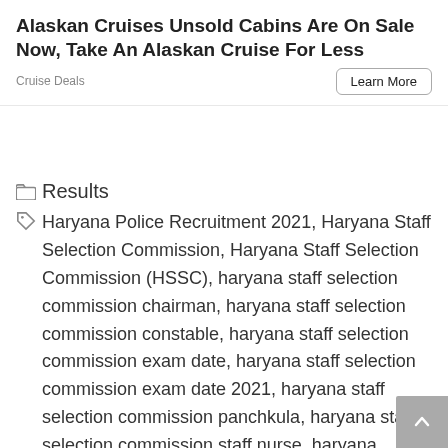[Figure (other): Advertisement banner: Alaskan Cruises Unsold Cabins Are On Sale Now, Take An Alaskan Cruise For Less with Cruise Deals source label and Learn More button]
Results
Haryana Police Recruitment 2021, Haryana Staff Selection Commission, Haryana Staff Selection Commission (HSSC), haryana staff selection commission chairman, haryana staff selection commission constable, haryana staff selection commission exam date, haryana staff selection commission exam date 2021, haryana staff selection commission panchkula, haryana staff selection commission staff nurse, haryana staff selection commission syllabus, haryana